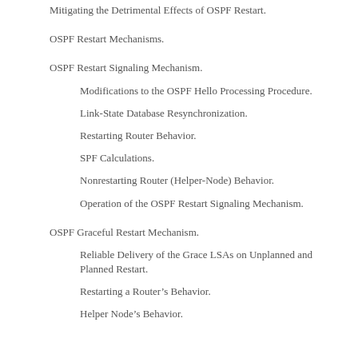Mitigating the Detrimental Effects of OSPF Restart.
OSPF Restart Mechanisms.
OSPF Restart Signaling Mechanism.
Modifications to the OSPF Hello Processing Procedure.
Link-State Database Resynchronization.
Restarting Router Behavior.
SPF Calculations.
Nonrestarting Router (Helper-Node) Behavior.
Operation of the OSPF Restart Signaling Mechanism.
OSPF Graceful Restart Mechanism.
Reliable Delivery of the Grace LSAs on Unplanned and Planned Restart.
Restarting a Router’s Behavior.
Helper Node’s Behavior.